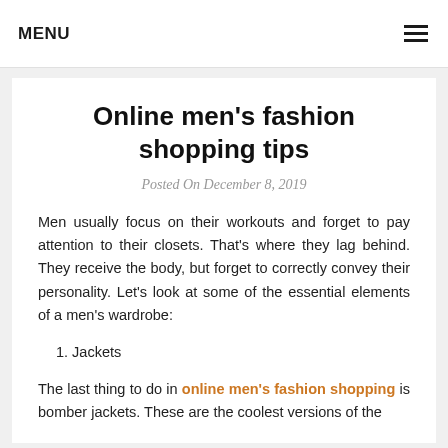MENU
Online men's fashion shopping tips
Posted On December 8, 2019
Men usually focus on their workouts and forget to pay attention to their closets. That's where they lag behind. They receive the body, but forget to correctly convey their personality. Let's look at some of the essential elements of a men's wardrobe:
1. Jackets
The last thing to do in online men's fashion shopping is bomber jackets. These are the coolest versions of the